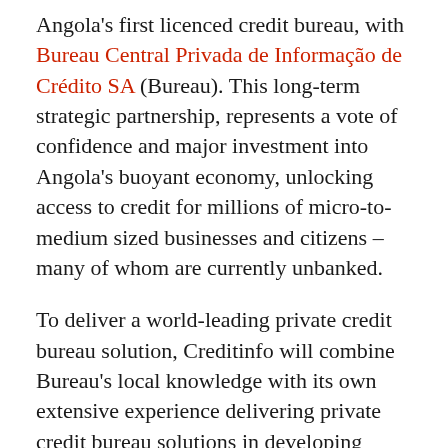Angola's first licenced credit bureau, with Bureau Central Privada de Informação de Crédito SA (Bureau). This long-term strategic partnership, represents a vote of confidence and major investment into Angola's buoyant economy, unlocking access to credit for millions of micro-to-medium sized businesses and citizens – many of whom are currently unbanked.
To deliver a world-leading private credit bureau solution, Creditinfo will combine Bureau's local knowledge with its own extensive experience delivering private credit bureau solutions in developing markets – including across Sub-Saharan Africa. The project's initial remit will include Creditinfo's most popular